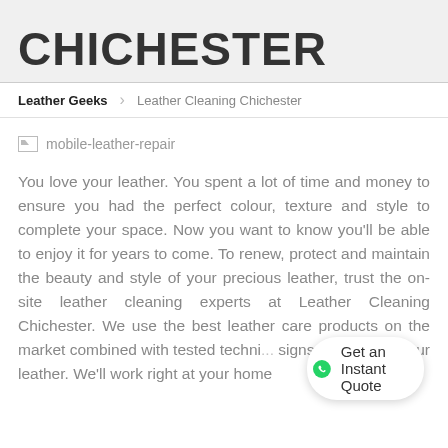CHICHESTER
Leather Geeks  >  Leather Cleaning Chichester
[Figure (photo): Placeholder image for mobile-leather-repair]
You love your leather. You spent a lot of time and money to ensure you had the perfect colour, texture and style to complete your space. Now you want to know you'll be able to enjoy it for years to come. To renew, protect and maintain the beauty and style of your precious leather, trust the on-site leather cleaning experts at Leather Cleaning Chichester. We use the best leather care products on the market combined with tested techni... signs of aging on your leather. We'll work right at your home...
Get an Instant Quote